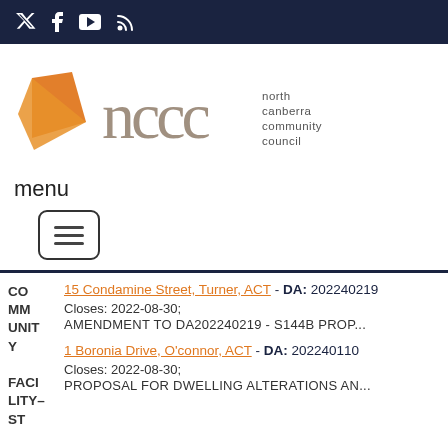Social media icons: Twitter, Facebook, YouTube, RSS
[Figure (logo): North Canberra Community Council logo with orange geometric shape and grey 'nccc' text with full name]
menu
[Figure (other): Hamburger menu button (three horizontal lines) with rounded rectangle border]
15 Condamine Street, Turner, ACT - DA: 202240219 Closes: 2022-08-30; AMENDMENT TO DA202240219 - S144B PROP...
1 Boronia Drive, O'connor, ACT - DA: 202240110 Closes: 2022-08-30; PROPOSAL FOR DWELLING ALTERATIONS AN...
COMMUNITY FACILITY-ST